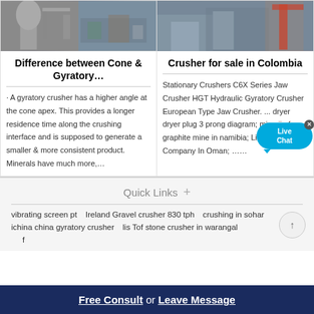[Figure (photo): Industrial crusher/mining equipment facility photo collage - left card image]
Difference between Cone & Gyratory…
· A gyratory crusher has a higher angle at the cone apex. This provides a longer residence time along the crushing interface and is supposed to generate a smaller & more consistent product. Minerals have much more,…
[Figure (photo): Industrial crusher equipment in outdoor facility - right card image]
Crusher for sale in Colombia
Stationary Crushers C6X Series Jaw Crusher HGT Hydraulic Gyratory Crusher European Type Jaw Crusher. ... dryer dryer plug 3 prong diagram; mine jig for graphite mine in namibia; List Of Mining Company In Oman; ……
Quick Links +
vibrating screen pt
Ireland Gravel crusher 830 tph
crushing in sohar
ichina china gyratory crusher
lis Tof stone crusher in warangal
Free Consult or Leave Message